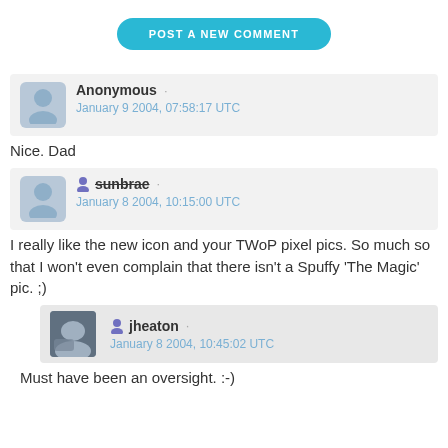POST A NEW COMMENT
Anonymous · January 9 2004, 07:58:17 UTC
Nice. Dad
sunbrae · January 8 2004, 10:15:00 UTC
I really like the new icon and your TWoP pixel pics. So much so that I won't even complain that there isn't a Spuffy 'The Magic' pic. ;)
jheaton · January 8 2004, 10:45:02 UTC
Must have been an oversight. :-)